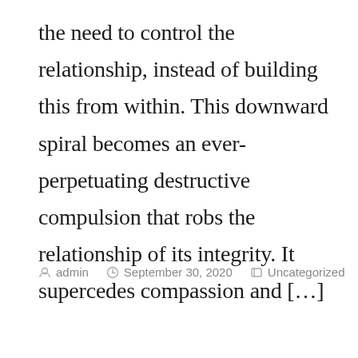the need to control the relationship, instead of building this from within. This downward spiral becomes an ever-perpetuating destructive compulsion that robs the relationship of its integrity. It supercedes compassion and […]
admin   September 30, 2020   Uncategorized